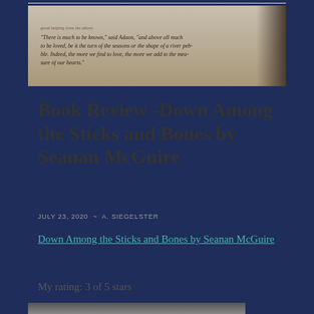[Figure (photo): Photograph of an open book showing printed text with a quote: 'There is much to be known,' said Adaon, 'and above all much to be loved, be it the turn of the seasons or the shape of a river pebble. Indeed, the more we find to love, the more we add to the measure of our hearts.']
Book Review -Down Among the Sticks and Bones by Seanan McGuire
JULY 23, 2020 ~ A. SIEGELSTER
Down Among the Sticks and Bones by Seanan McGuire
My rating: 3 of 5 stars
[Figure (photo): Partial photograph visible at the bottom of the page, dark/grey tones, appears to be a book cover or related image.]